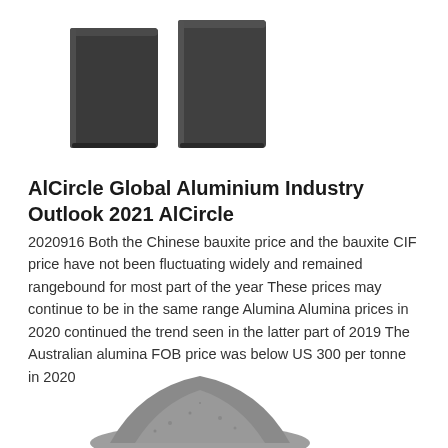[Figure (photo): Two dark grey/charcoal rectangular aluminium ingots or metal blocks side by side on white background]
AlCircle Global Aluminium Industry Outlook 2021 AlCircle
2020916 Both the Chinese bauxite price and the bauxite CIF price have not been fluctuating widely and remained rangebound for most part of the year These prices may continue to be in the same range Alumina Alumina prices in 2020 continued the trend seen in the latter part of 2019 The Australian alumina FOB price was below US 300 per tonne in 2020
[Figure (photo): A pile of grey alumina or bauxite powder/granules at the bottom of the page]